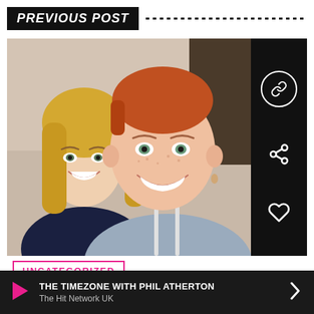PREVIOUS POST
[Figure (photo): Selfie of a young couple smiling at the camera. A blonde woman on the left wearing a dark navy top, and a young man with reddish hair on the right wearing a gray hoodie.]
UNCATEGORIZED
THE TIMEZONE WITH PHIL ATHERTON
The Hit Network UK